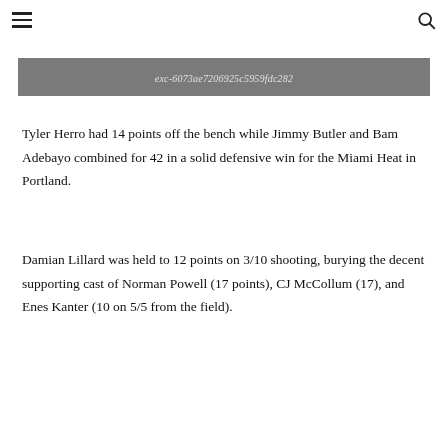≡  🔍
exc-6073ae7206925c5959fdc282
Tyler Herro had 14 points off the bench while Jimmy Butler and Bam Adebayo combined for 42 in a solid defensive win for the Miami Heat in Portland.
Damian Lillard was held to 12 points on 3/10 shooting, burying the decent supporting cast of Norman Powell (17 points), CJ McCollum (17), and Enes Kanter (10 on 5/5 from the field).